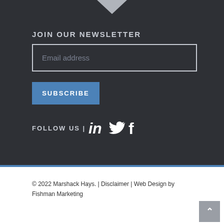[Figure (logo): Downward pointing arrow/chevron logo at top center]
JOIN OUR NEWSLETTER
Email address
SUBSCRIBE
FOLLOW US | [LinkedIn] [Twitter] [Facebook]
© 2022 Marshack Hays. | Disclaimer | Web Design by Fishman Marketing